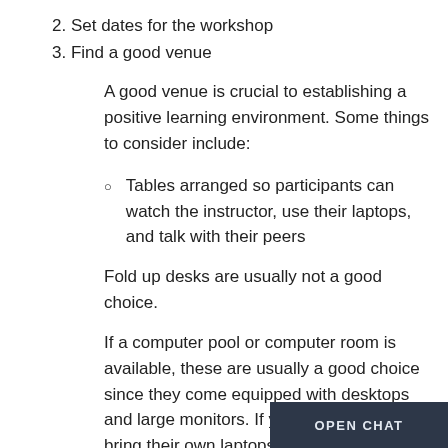2. Set dates for the workshop
3. Find a good venue
A good venue is crucial to establishing a positive learning environment. Some things to consider include:
Tables arranged so participants can watch the instructor, use their laptops, and talk with their peers
Fold up desks are usually not a good choice.
If a computer pool or computer room is available, these are usually a good choice since they come equipped with desktops and large monitors. If you allow students to bring their own laptops, they will sometimes bring very tiny ones and then struggle to read tutorials at the same time a